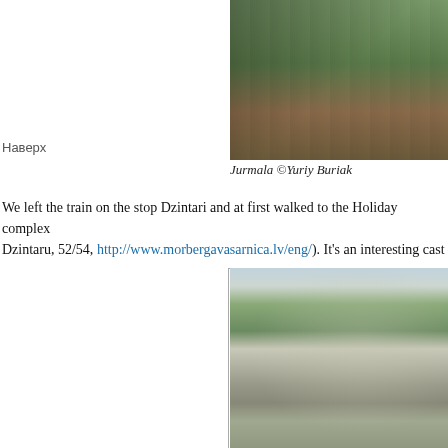[Figure (photo): Photo of Jurmala street scene with green buildings and trees, credit Yuriy Buriak]
Jurmala ©Yuriy Buriak
We left the train on the stop Dzintari and at first walked to the Holiday complex Dzintaru, 52/54, http://www.morbergavasarnica.lv/eng/). It's an interesting cast
[Figure (photo): Photo of a castle-like historic building (Morberga vasarnica) surrounded by trees in Jurmala, Latvia]